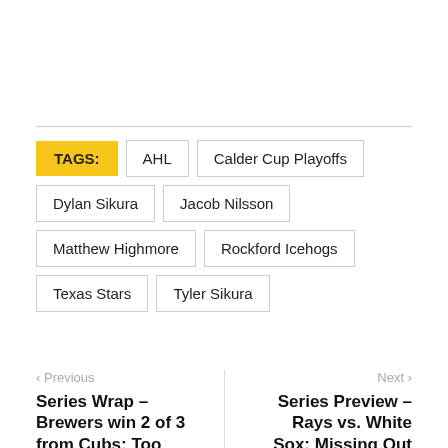TAGS:
AHL
Calder Cup Playoffs
Dylan Sikura
Jacob Nilsson
Matthew Highmore
Rockford Icehogs
Texas Stars
Tyler Sikura
< Previous
Series Wrap – Brewers win 2 of 3 from Cubs: Too Much Ain't
Next >
Series Preview – Rays vs. White Sox: Missing Out On The New